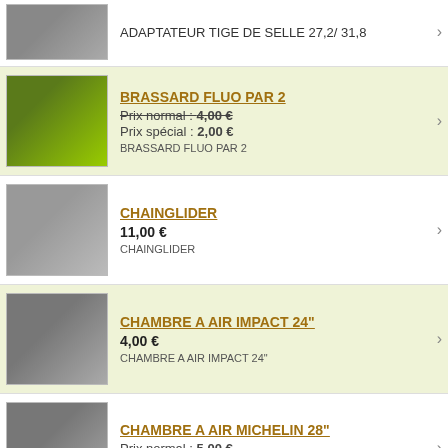ADAPTATEUR TIGE DE SELLE 27,2/ 31,8
BRASSARD FLUO PAR 2
Prix normal : 4,00 €
Prix spécial : 2,00 €
BRASSARD FLUO PAR 2
CHAINGLIDER
11,00 €
CHAINGLIDER
CHAMBRE A AIR IMPACT 24"
4,00 €
CHAMBRE A AIR IMPACT 24"
CHAMBRE A AIR MICHELIN 28"
Prix normal : 5,00 €
Prix spécial : 2,00 €